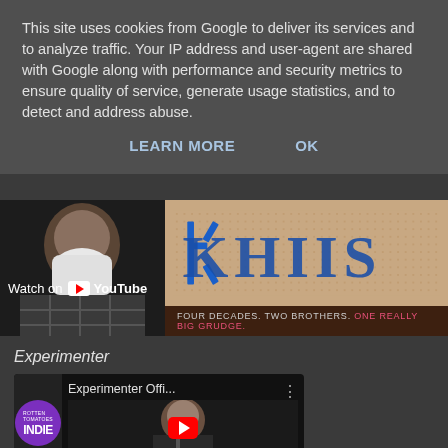This site uses cookies from Google to deliver its services and to analyze traffic. Your IP address and user-agent are shared with Google along with performance and security metrics to ensure quality of service, generate usage statistics, and to detect and address abuse.
LEARN MORE    OK
[Figure (screenshot): YouTube video banner showing a bearded man on the left and a cross-stitch style text on a burlap background on the right, with 'Watch on YouTube' overlay and tagline 'FOUR DECADES. TWO BROTHERS. ONE REALLY BIG GRUDGE.']
Experimenter
[Figure (screenshot): YouTube video thumbnail for 'Experimenter Offi...' with INDIE channel badge and a man's face with a red play button overlay]